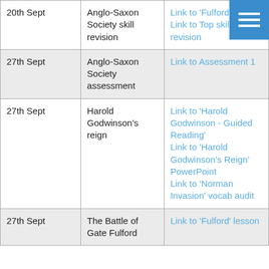| Date | Topic | Resources |
| --- | --- | --- |
| 20th Sept | Anglo-Saxon Society skill revision | Link to 'Fulford lesson
Link to Top skill revision |
| 27th Sept | Anglo-Saxon Society assessment | Link to Assessment 1 |
| 27th Sept | Harold Godwinson's reign | Link to 'Harold Godwinson - Guided Reading'
Link to 'Harold Godwinson's Reign' PowerPoint
Link to 'Norman Invasion' vocab audit |
| 27th Sept | The Battle of Gate Fulford | Link to 'Fulford' lesson |